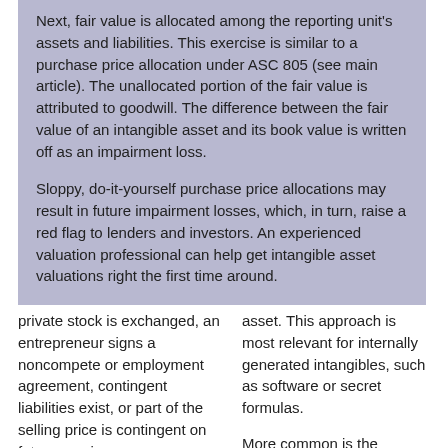Next, fair value is allocated among the reporting unit's assets and liabilities. This exercise is similar to a purchase price allocation under ASC 805 (see main article). The unallocated portion of the fair value is attributed to goodwill. The difference between the fair value of an intangible asset and its book value is written off as an impairment loss.
Sloppy, do-it-yourself purchase price allocations may result in future impairment losses, which, in turn, raise a red flag to lenders and investors. An experienced valuation professional can help get intangible asset valuations right the first time around.
private stock is exchanged, an entrepreneur signs a noncompete or employment agreement, contingent liabilities exist, or part of the selling price is contingent on future earnings.
asset. This approach is most relevant for internally generated intangibles, such as software or secret formulas.
More common is the income approach, which bases value on an asset's future economic benefits. For example, the relief-from-royalty method derives value from the cost savings of not having to pay a royalty for use of the intangible